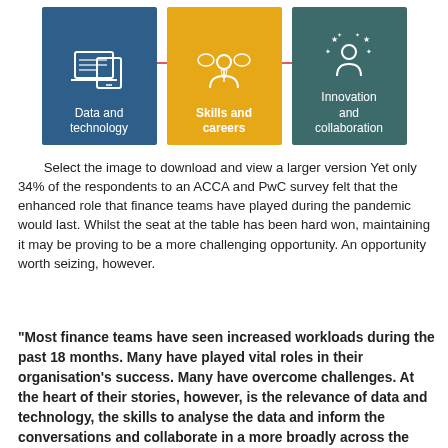[Figure (infographic): Three icon boxes connected by a horizontal red line. Left box (blue): laptop/tablet icon, labeled 'Data and technology'. Middle box (gold/orange): people/speech bubble icon, labeled 'Skills and careers'. Right box (teal): person with stars icon, labeled 'Innovation and collaboration'.]
Select the image to download and view a larger version Yet only 34% of the respondents to an ACCA and PwC survey felt that the enhanced role that finance teams have played during the pandemic would last. Whilst the seat at the table has been hard won, maintaining it may be proving to be a more challenging opportunity. An opportunity worth seizing, however.
"Most finance teams have seen increased workloads during the past 18 months. Many have played vital roles in their organisation's success. Many have overcome challenges. At the heart of their stories, however, is the relevance of data and technology, the skills to analyse the data and inform the conversations and collaborate in a more broadly across the